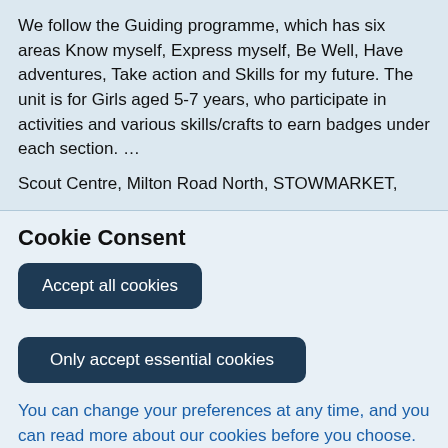We follow the Guiding programme, which has six areas Know myself, Express myself, Be Well, Have adventures, Take action and Skills for my future. The unit is for Girls aged 5-7 years, who participate in activities and various skills/crafts to earn badges under each section. …
Scout Centre, Milton Road North, STOWMARKET,
Cookie Consent
Accept all cookies
Only accept essential cookies
You can change your preferences at any time, and you can read more about our cookies before you choose.
Leave Website